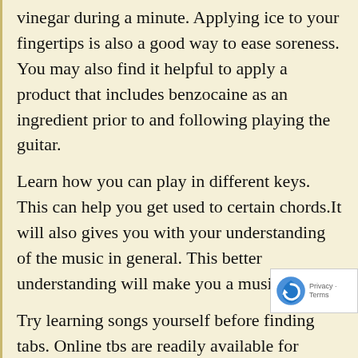vinegar during a minute. Applying ice to your fingertips is also a good way to ease soreness. You may also find it helpful to apply a product that includes benzocaine as an ingredient prior to and following playing the guitar.
Learn how you can play in different keys. This can help you get used to certain chords.It will also gives you with your understanding of the music in general. This better understanding will make you a musician.
Try learning songs yourself before finding tabs. Online tbs are readily available for learning nearly any song, but you should use your ears to try to learn it before searching online.
Hard work is required to learn a skill that is worth knowing.
Practice strumming your guitar. This will help you learn the chords. It will also help you when you have to switch fr one chord to another so that you can make a smooth transition between the two. So, take the time to simply because it has many benefits that will help you become a